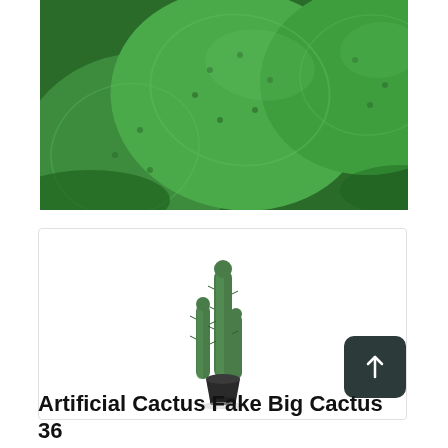[Figure (photo): Close-up photo of large green prickly pear cactus pads with spines, bright outdoor lighting]
[Figure (photo): Product photo of an artificial tall columnar cactus in a dark pot on a white background]
Artificial Cactus Fake Big Cactus 36